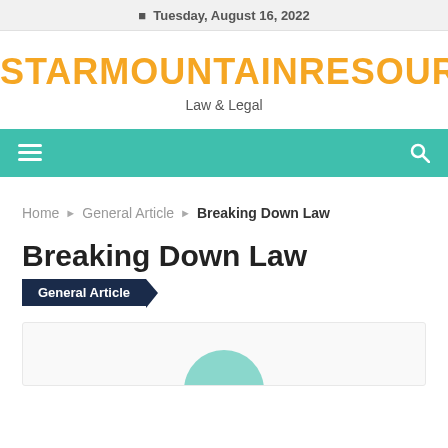Tuesday, August 16, 2022
STARMOUNTAINRESOUR
Law & Legal
[Figure (other): Teal navigation bar with hamburger menu icon on the left and search icon on the right]
Home  ❯  General Article  ❯  Breaking Down Law
Breaking Down Law
General Article
[Figure (other): Partial image at bottom of page with white background and what appears to be a circular logo or image just visible]